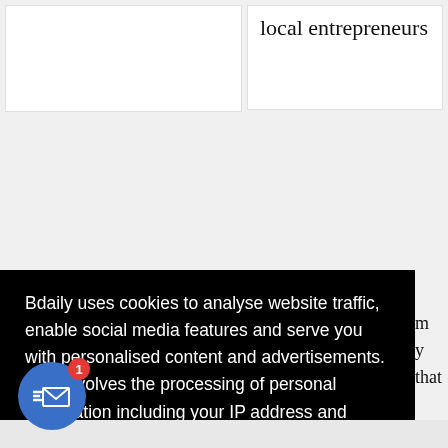local entrepreneurs
Bdaily uses cookies to analyse website traffic, enable social media features and serve you with personalised content and advertisements. This involves the processing of personal information including your IP address and browsing behaviour. For more information, please see our Cookies Policy
I ACCEPT
m y that